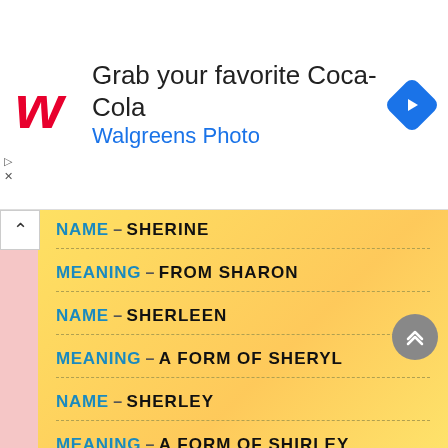[Figure (screenshot): Walgreens Photo advertisement banner: Walgreens 'W' logo in red, text 'Grab your favorite Coca-Cola' and 'Walgreens Photo' in blue, navigation/map icon on right]
NAME – SHERINE
MEANING – FROM SHARON
NAME – SHERLEEN
MEANING – A FORM OF SHERYL
NAME – SHERLEY
MEANING – A FORM OF SHIRLEY
NAME – SHERRI